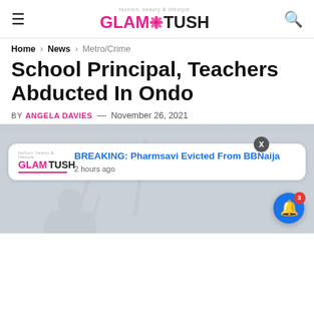GLAMTUSH
Home > News > Metro/Crime
School Principal, Teachers Abducted In Ondo
BY ANGELA DAVIES — November 26, 2021
[Figure (photo): Silhouette of a person with guns/rifles against a grey sky background]
BREAKING: Pharmsavi Evicted From BBNaija
2 hours ago